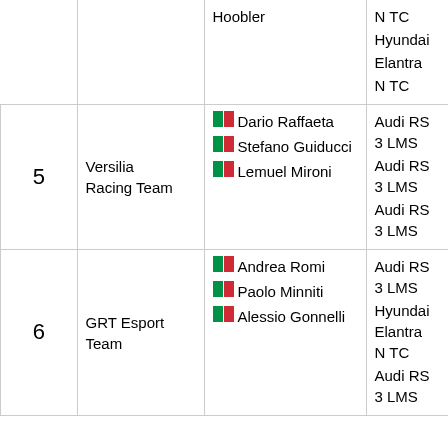| # | Team | Drivers | Cars | Manufacturer |
| --- | --- | --- | --- | --- |
|  |  | Hoobler | N TC
Hyundai Elantra N TC |  |
| 5 | Versilia Racing Team | IT Dario Raffaeta
IT Stefano Guiducci
IT Lemuel Mironi | Audi RS 3 LMS
Audi RS 3 LMS
Audi RS 3 LMS | Audi |
| 6 | GRT Esport Team | IT Andrea Romi
IT Paolo Minniti
IT Alessio Gonnelli | Audi RS 3 LMS
Hyundai Elantra N TC
Audi RS 3 LMS | Audi / Hyundai |